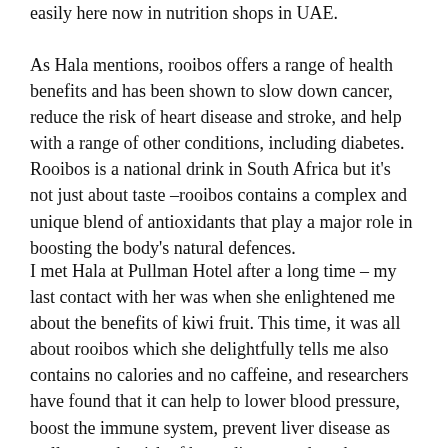easily here now in nutrition shops in UAE.
As Hala mentions, rooibos offers a range of health benefits and has been shown to slow down cancer, reduce the risk of heart disease and stroke, and help with a range of other conditions, including diabetes. Rooibos is a national drink in South Africa but it's not just about taste –rooibos contains a complex and unique blend of antioxidants that play a major role in boosting the body's natural defences.
I met Hala at Pullman Hotel after a long time – my last contact with her was when she enlightened me about the benefits of kiwi fruit. This time, it was all about rooibos which she delightfully tells me also contains no calories and no caffeine, and researchers have found that it can help to lower blood pressure, boost the immune system, prevent liver disease as well as cut the risk of heart disease and stroke.